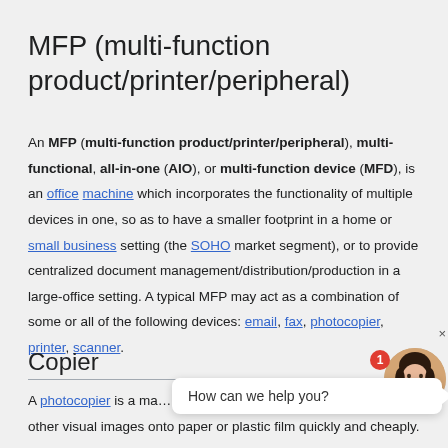MFP (multi-function product/printer/peripheral)
An MFP (multi-function product/printer/peripheral), multi-functional, all-in-one (AIO), or multi-function device (MFD), is an office machine which incorporates the functionality of multiple devices in one, so as to have a smaller footprint in a home or small business setting (the SOHO market segment), or to provide centralized document management/distribution/production in a large-office setting. A typical MFP may act as a combination of some or all of the following devices: email, fax, photocopier, printer, scanner.
Copier
A photocopier is a ma... other visual images onto paper or plastic film quickly and cheaply.
[Figure (other): Chat widget overlay with 'How can we help you?' bubble, avatar of a woman, and red badge showing '1', with a close button 'x']